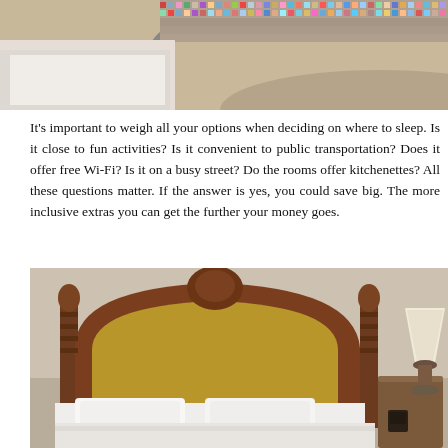[Figure (photo): Top portion of a decorative mosaic-tiled circular structure, possibly a fountain or pool, with colorful mosaic tiles visible along the curved edge. A white tub or basin is visible at the bottom left.]
It's important to weigh all your options when deciding on where to sleep. Is it close to fun activities? Is it convenient to public transportation? Does it offer free Wi-Fi? Is it on a busy street? Do the rooms offer kitchenettes? All these questions matter. If the answer is yes, you could save big. The more inclusive extras you can get the further your money goes.
[Figure (photo): Hotel room with an ornate wooden headboard with upholstered gold/tan center panel, white pillows on the bed, and a lamp with white shade on a nightstand to the right.]